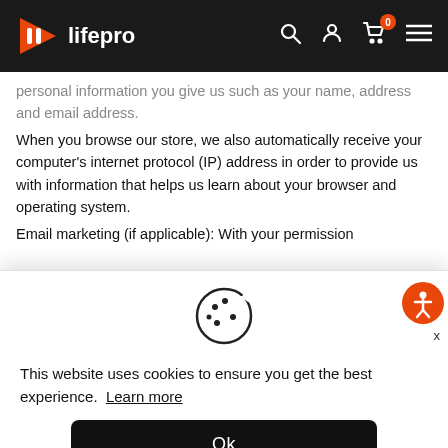[Figure (logo): Lifepro brand logo with orange play-button style icon and 'lifepro' text in white on dark navbar]
personal information you give us such as your name, address and email address.
When you browse our store, we also automatically receive your computer's internet protocol (IP) address in order to provide us with information that helps us learn about your browser and operating system.
Email marketing (if applicable): With your permission
[Figure (illustration): Cookie icon (circular cookie with bite taken out and dots representing chocolate chips)]
This website uses cookies to ensure you get the best experience. Learn more
Ok
How do you get my consent?